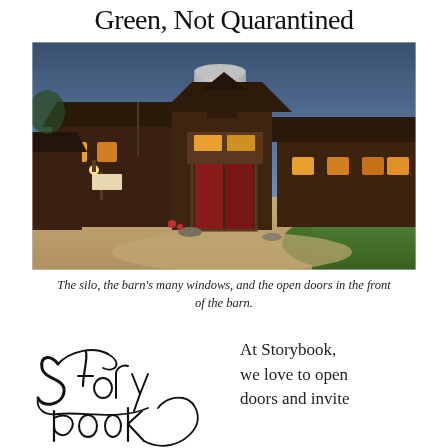Green, Not Quarantined
[Figure (photo): A rustic barn-style building with a grain silo in the center, wooden exterior, red doors, multiple glowing windows, and gravel driveway surrounded by greenery at dusk.]
The silo, the barn's many windows, and the open doors in the front of the barn.
[Figure (logo): Storybook Farm cursive/script logo in black ink]
At Storybook, we love to open doors and invite